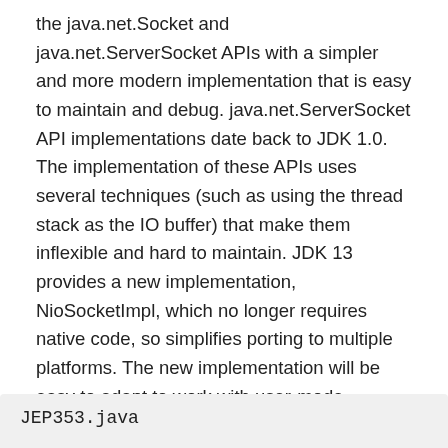the java.net.Socket and java.net.ServerSocket APIs with a simpler and more modern implementation that is easy to maintain and debug. java.net.ServerSocket API implementations date back to JDK 1.0. The implementation of these APIs uses several techniques (such as using the thread stack as the IO buffer) that make them inflexible and hard to maintain. JDK 13 provides a new implementation, NioSocketImpl, which no longer requires native code, so simplifies porting to multiple platforms. The new implementation will be easy to adapt to work with user-mode threads, a.k.a. fibers, currently being explored in Project Loom.
Let's check following Socket example:
JEP353.java